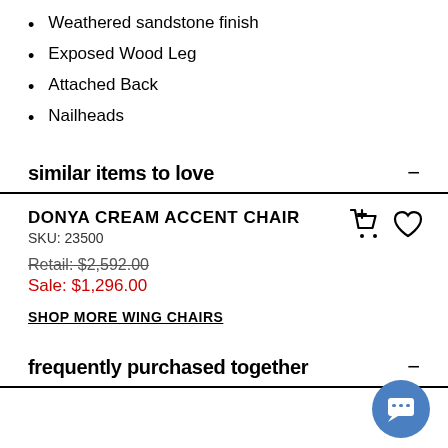Weathered sandstone finish
Exposed Wood Leg
Attached Back
Nailheads
similar items to love
DONYA CREAM ACCENT CHAIR
SKU: 23500
Retail: $2,592.00
Sale: $1,296.00
SHOP MORE WING CHAIRS
frequently purchased together